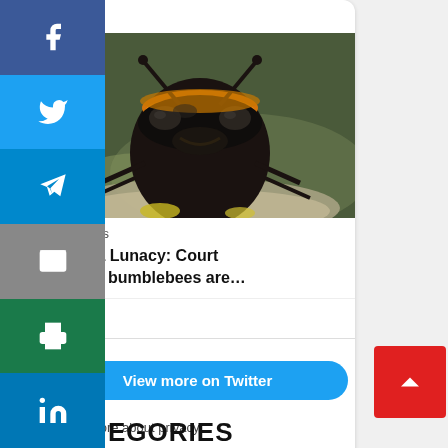[Figure (screenshot): Social media sharing sidebar with Facebook, Twitter, Telegram, Email, Print, and LinkedIn buttons stacked vertically on the left side of the page]
[Figure (photo): Close-up macro photograph of a bumblebee face showing black and orange coloring]
ngefire.us
lifornia Lunacy: Court es that bumblebees are…
[Figure (screenshot): Heart (like) icon in card actions area]
View more on Twitter
Learn more about privacy witter
[Figure (screenshot): Red back-to-top arrow button in bottom right corner]
EGORIES